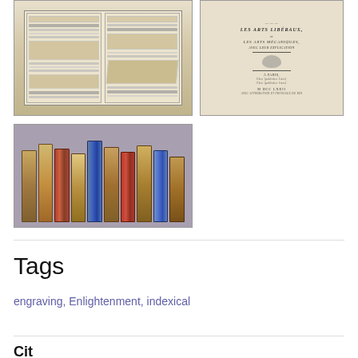[Figure (photo): Open book with printed pages showing maps or tables, viewed from above, with aged/yellowed paper]
[Figure (photo): Title page of an old French book mentioning Les Arts Liberaux and Les Arts Mecaniques, printed in Paris]
[Figure (photo): Row of antique book spines standing upright, with decorative marbled covers in blue, red, and gold tones]
Tags
engraving, Enlightenment, indexical
Citations